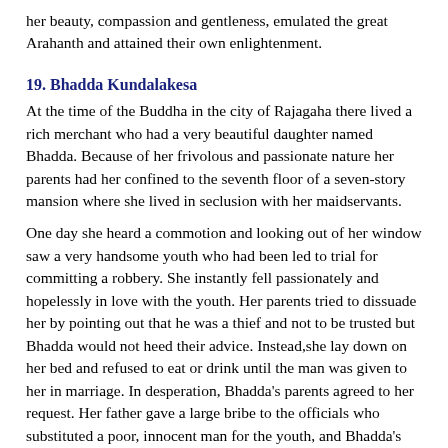her beauty, compassion and gentleness, emulated the great Arahanth and attained their own enlightenment.
19. Bhadda Kundalakesa
At the time of the Buddha in the city of Rajagaha there lived a rich merchant who had a very beautiful daughter named Bhadda. Because of her frivolous and passionate nature her parents had her confined to the seventh floor of a seven-story mansion where she lived in seclusion with her maidservants.
One day she heard a commotion and looking out of her window saw a very handsome youth who had been led to trial for committing a robbery. She instantly fell passionately and hopelessly in love with the youth. Her parents tried to dissuade her by pointing out that he was a thief and not to be trusted but Bhadda would not heed their advice. Instead,she lay down on her bed and refused to eat or drink until the man was given to her in marriage. In desperation, Bhadda's parents agreed to her request. Her father gave a large bribe to the officials who substituted a poor, innocent man for the youth, and Bhadda's lover was freed. Bhadda's parents gave her in marriage to the youth, hoping that her love and his good fortune would mend his ways.